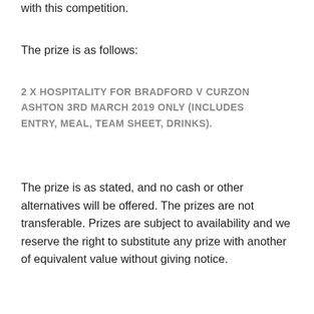with this competition.
The prize is as follows:
2 X HOSPITALITY FOR BRADFORD V CURZON ASHTON 3RD MARCH 2019 ONLY (INCLUDES ENTRY, MEAL, TEAM SHEET, DRINKS).
The prize is as stated, and no cash or other alternatives will be offered. The prizes are not transferable. Prizes are subject to availability and we reserve the right to substitute any prize with another of equivalent value without giving notice.